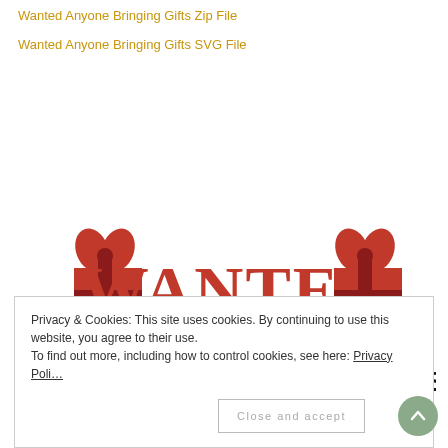Wanted Anyone Bringing Gifts Zip File
Wanted Anyone Bringing Gifts SVG File
[Figure (illustration): Wanted: Jolly Men Bringing Gifts graphic with two gift boxes flanking large red text WANTED, and below it text JOLLY MEN BRINGING GIFTS in bold black letters]
Privacy & Cookies: This site uses cookies. By continuing to use this website, you agree to their use.
To find out more, including how to control cookies, see here: Privacy Policy
Close and accept